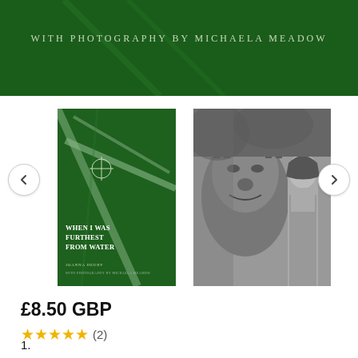[Figure (illustration): Dark green banner with text 'WITH PHOTOGRAPHY BY MICHAELA MEADOW' in spaced light letters]
[Figure (photo): Book cover for 'When I Was Furthest From Water' by Joanna Heury with photography by Michaela Meadow, green cover with leaf/cross imagery]
[Figure (photo): Black and white portrait photograph of a woman standing next to a large decorative statue head outdoors]
£8.50 GBP
★★★★★ (2)
1.